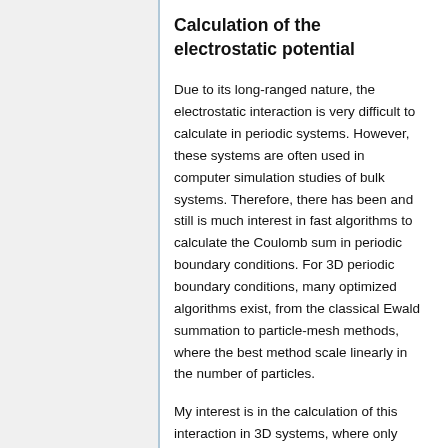Calculation of the electrostatic potential
Due to its long-ranged nature, the electrostatic interaction is very difficult to calculate in periodic systems. However, these systems are often used in computer simulation studies of bulk systems. Therefore, there has been and still is much interest in fast algorithms to calculate the Coulomb sum in periodic boundary conditions. For 3D periodic boundary conditions, many optimized algorithms exist, from the classical Ewald summation to particle-mesh methods, where the best method scale linearly in the number of particles.
My interest is in the calculation of this interaction in 3D systems, where only one or two coordinates are periodically